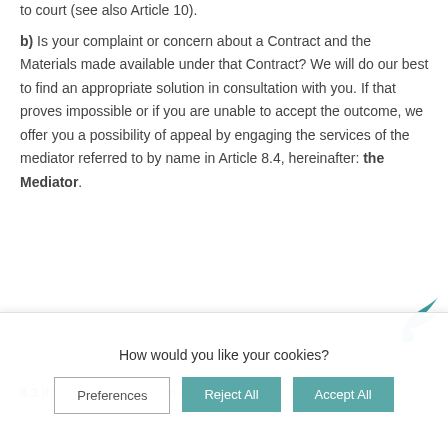to court (see also Article 10).
b) Is your complaint or concern about a Contract and the Materials made available under that Contract? We will do our best to find an appropriate solution in consultation with you. If that proves impossible or if you are unable to accept the outcome, we offer you a possibility of appeal by engaging the services of the mediator referred to by name in Article 8.4, hereinafter: the Mediator.
8.3  If you submit a concern or complaint in
How would you like your cookies?
Preferences
Reject All
Accept All